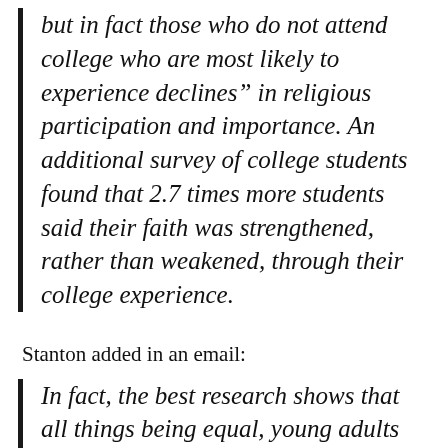but in fact those who do not attend college who are most likely to experience declines” in religious participation and importance. An additional survey of college students found that 2.7 times more students said their faith was strengthened, rather than weakened, through their college experience.
Stanton added in an email:
In fact, the best research shows that all things being equal, young adults are more likely to abandon their faith if they don’t go to college, be it a